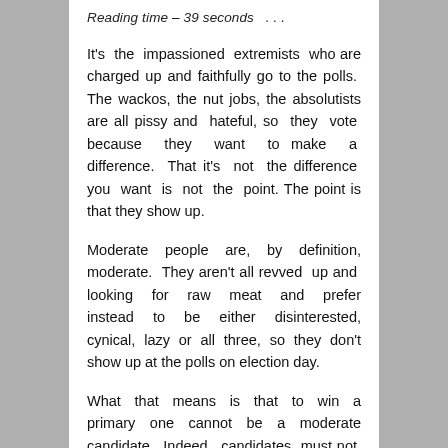Reading time – 39 seconds  . . .
It's the impassioned extremists who are charged up and faithfully go to the polls. The wackos, the nut jobs, the absolutists are all pissy and  hateful, so they vote because they want to make a difference. That it's not the difference you want is not the point. The point is that they show up.
Moderate people are, by definition, moderate. They aren't all revved up and looking for raw meat and prefer instead to be either disinterested, cynical, lazy or all three, so they don't show up at the polls on election day.
What that means is that to win a primary one cannot be a moderate candidate. Indeed, candidates must not appear to be even marginally